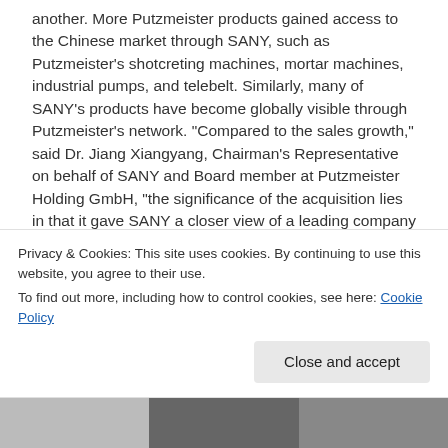another. More Putzmeister products gained access to the Chinese market through SANY, such as Putzmeister's shotcreting machines, mortar machines, industrial pumps, and telebelt. Similarly, many of SANY's products have become globally visible through Putzmeister's network. "Compared to the sales growth," said Dr. Jiang Xiangyang, Chairman's Representative on behalf of SANY and Board member at Putzmeister Holding GmbH, "the significance of the acquisition lies in that it gave SANY a closer view of a leading company in the west, the market in developed countries, and their way of company governance."
[Figure (photo): Photo strip showing flags on a building facade with blue sky visible]
Privacy & Cookies: This site uses cookies. By continuing to use this website, you agree to their use.
To find out more, including how to control cookies, see here: Cookie Policy
[Figure (photo): Bottom photo strip showing multiple images]